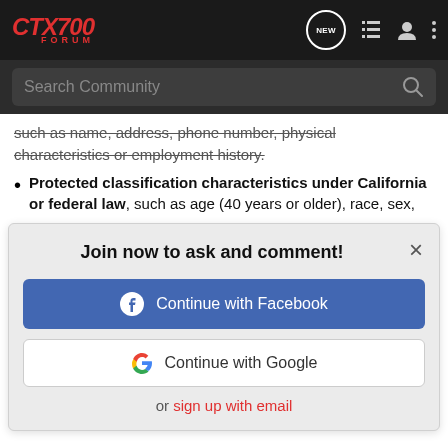CTX700 FORUM — Navigation bar with NEW, list, user, and menu icons
Search Community
such as name, address, phone number, physical characteristics or employment history.
Protected classification characteristics under California or federal law, such as age (40 years or older), race, sex,
[Figure (screenshot): Modal dialog: 'Join now to ask and comment!' with Continue with Facebook button, Continue with Google button, and 'or sign up with email' link. Close (×) button in top right.]
Geolocation data.
Professional or employment-related information.
Inferences drawn from other personal information to